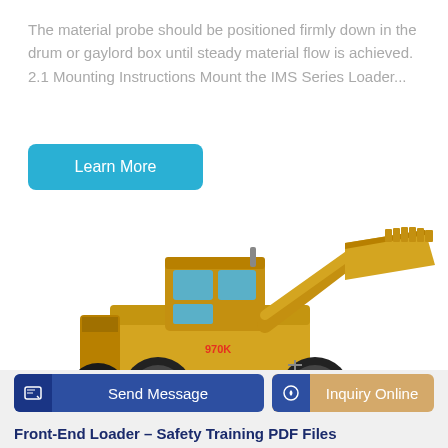The material probe should be positioned firmly down in the drum or gaylord box until steady material flow is achieved. 2.1 Mounting Instructions Mount the IMS Series Loader...
Learn More
[Figure (photo): Yellow CAT 970K front-end wheel loader with bucket raised, photographed on white background]
Send Message
Inquiry Online
Front-End Loader – Safety Training PDF Files